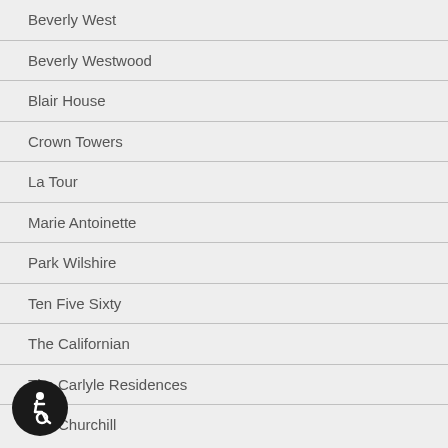Beverly West
Beverly Westwood
Blair House
Crown Towers
La Tour
Marie Antoinette
Park Wilshire
Ten Five Sixty
The Californian
The Carlyle Residences
The Churchill